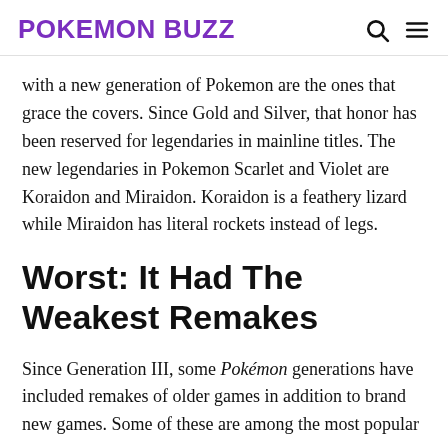POKEMON BUZZ
with a new generation of Pokemon are the ones that grace the covers. Since Gold and Silver, that honor has been reserved for legendaries in mainline titles. The new legendaries in Pokemon Scarlet and Violet are Koraidon and Miraidon. Koraidon is a feathery lizard while Miraidon has literal rockets instead of legs.
Worst: It Had The Weakest Remakes
Since Generation III, some Pokémon generations have included remakes of older games in addition to brand new games. Some of these are among the most popular games